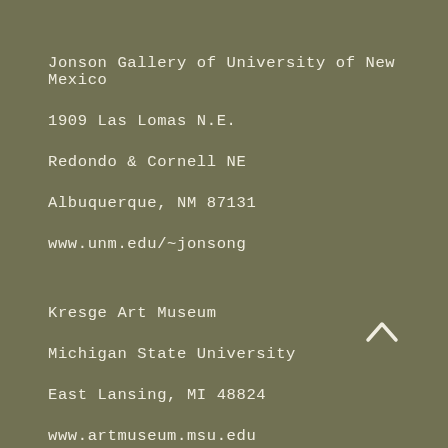Jonson Gallery of University of New Mexico
1909 Las Lomas N.E.
Redondo & Cornell NE
Albuquerque, NM 87131
www.unm.edu/~jonsong
Kresge Art Museum
Michigan State University
East Lansing, MI 48824
www.artmuseum.msu.edu